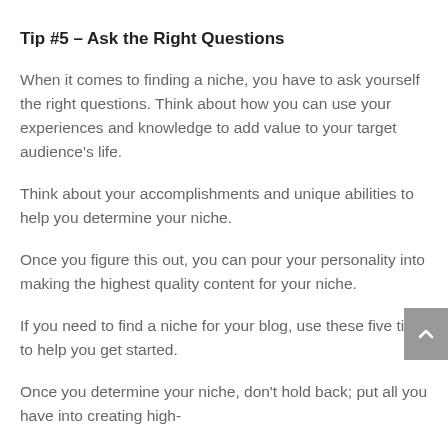Tip #5 – Ask the Right Questions
When it comes to finding a niche, you have to ask yourself the right questions. Think about how you can use your experiences and knowledge to add value to your target audience's life.
Think about your accomplishments and unique abilities to help you determine your niche.
Once you figure this out, you can pour your personality into making the highest quality content for your niche.
If you need to find a niche for your blog, use these five tips to help you get started.
Once you determine your niche, don't hold back; put all you have into creating high-